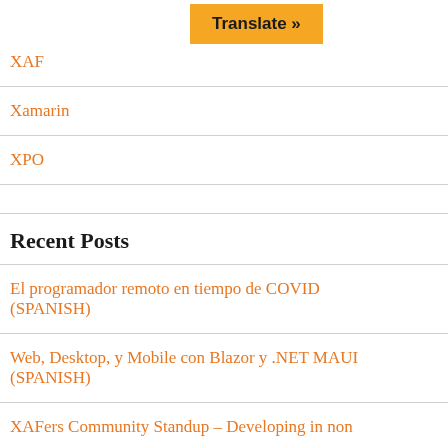[Figure (other): Orange 'Translate »' button]
XAF
Xamarin
XPO
Recent Posts
El programador remoto en tiempo de COVID (SPANISH)
Web, Desktop, y Mobile con Blazor y .NET MAUI (SPANISH)
XAFers Community Standup – Developing in non